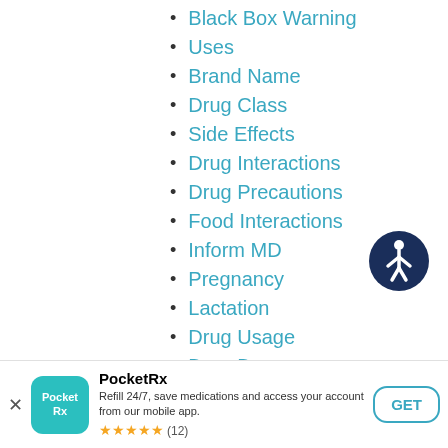Black Box Warning
Uses
Brand Name
Drug Class
Side Effects
Drug Interactions
Drug Precautions
Food Interactions
Inform MD
Pregnancy
Lactation
Drug Usage
Drug Dosage
[Figure (illustration): Accessibility icon — circular dark navy badge with white wheelchair user symbol]
[Figure (logo): PocketRx app icon — teal rounded square with white Pocket Rx text]
PocketRx
Refill 24/7, save medications and access your account from our mobile app.
★★★★★ (12)